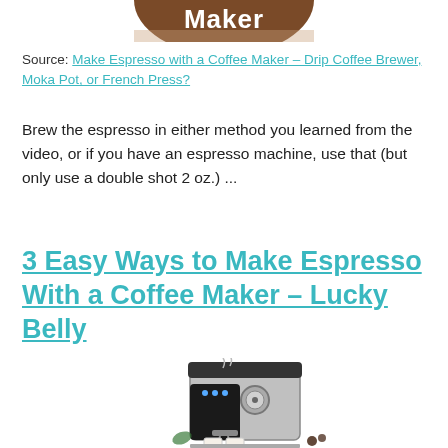[Figure (illustration): Partial circular crop of a coffee maker image with text 'Maker' visible on a brown banner at top of page]
Source: Make Espresso with a Coffee Maker – Drip Coffee Brewer, Moka Pot, or French Press?
Brew the espresso in either method you learned from the video, or if you have an espresso machine, use that (but only use a double shot 2 oz.) ...
3 Easy Ways to Make Espresso With a Coffee Maker – Lucky Belly
[Figure (photo): Photo of a stainless steel espresso machine with two espresso cups and coffee beans in front of it]